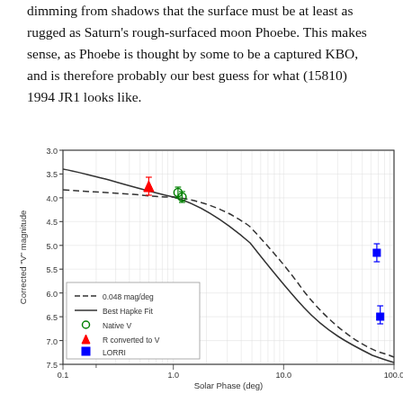dimming from shadows that the surface must be at least as rugged as Saturn's rough-surfaced moon Phoebe. This makes sense, as Phoebe is thought by some to be a captured KBO, and is therefore probably our best guess for what (15810) 1994 JR1 looks like.
[Figure (continuous-plot): Phase curve plot showing Corrected V magnitude vs Solar Phase (deg) on a log scale. Two model curves: dashed line labeled 0.048 mag/deg and solid line labeled Best Hapke Fit. Data points: green circles (Native V) near phase 1.0-1.2, red triangles (R converted to V) near phase 0.6, and blue squares (LORRI) near phase 70-80. Y-axis runs from 3.0 to 7.5 (inverted). X-axis runs from 0.1 to 100.0 on log scale.]